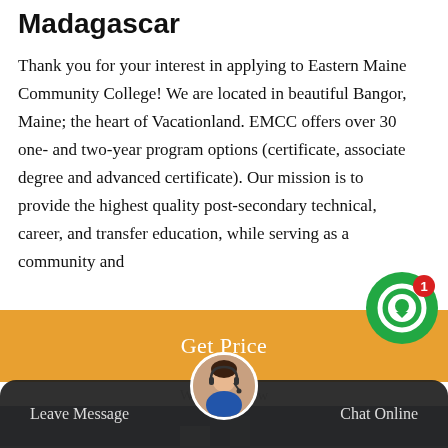Madagascar
Thank you for your interest in applying to Eastern Maine Community College! We are located in beautiful Bangor, Maine; the heart of Vacationland. EMCC offers over 30 one- and two-year program options (certificate, associate degree and advanced certificate). Our mission is to provide the highest quality post-secondary technical, career, and transfer education, while serving as a community and
[Figure (screenshot): Orange 'Get Price' button UI element]
[Figure (photo): Two workers in blue hard hats working on industrial equipment/pipes]
[Figure (screenshot): Dark bottom bar with 'Leave Message' and 'Chat Online' options, and a customer service avatar]